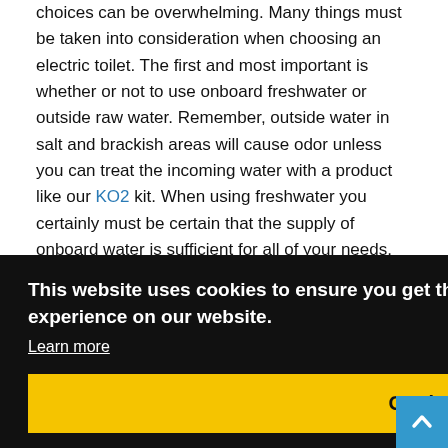choices can be overwhelming. Many things must be taken into consideration when choosing an electric toilet. The first and most important is whether or not to use onboard freshwater or outside raw water. Remember, outside water in salt and brackish areas will cause odor unless you can treat the incoming water with a product like our KO2 kit. When using freshwater you certainly must be certain that the supply of onboard water is sufficient for all of your needs.
Raritan was the first toilet manufacturer to introduce a Seafresh [partially visible] electric outside [er most] water to [nell. Or,] it is
This website uses cookies to ensure you get the best experience on our website. Learn more
Got it!
Benefits of Raritan Marine Toilets